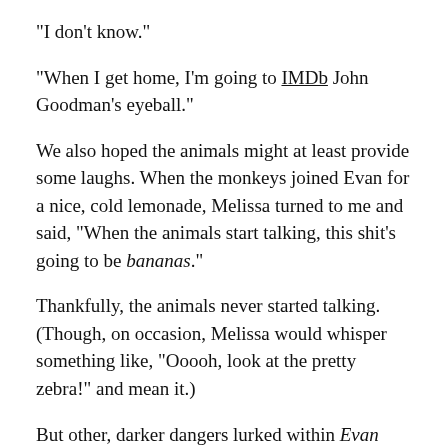“I don’t know.”
“When I get home, I’m going to IMDb John Goodman’s eyeball.”
We also hoped the animals might at least provide some laughs. When the monkeys joined Evan for a nice, cold lemonade, Melissa turned to me and said, “When the animals start talking, this shit’s going to be bananas.”
Thankfully, the animals never started talking. (Though, on occasion, Melissa would whisper something like, “Ooooh, look at the pretty zebra!” and mean it.)
But other, darker dangers lurked within Evan